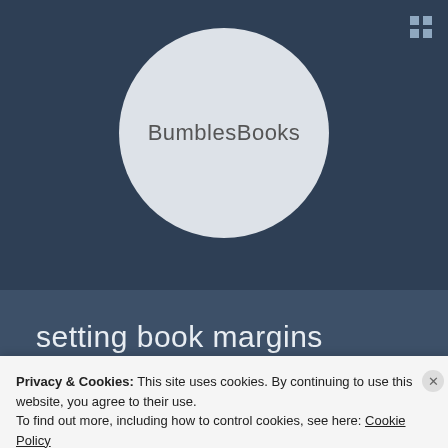[Figure (logo): Circular logo with light grey background and text 'BumblesBooks' in thin light font on a dark navy blue background]
setting book margins
Privacy & Cookies: This site uses cookies. By continuing to use this website, you agree to their use.
To find out more, including how to control cookies, see here: Cookie Policy
Close and accept